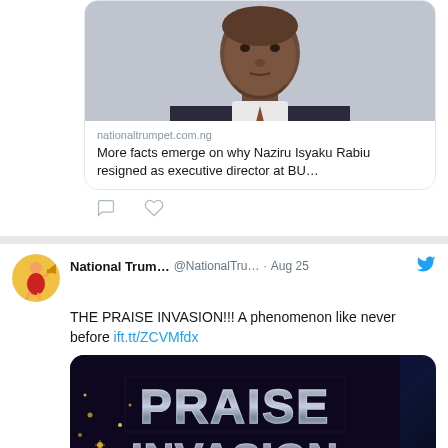[Figure (screenshot): Partial tweet showing link preview card with photo of a man in a suit and text 'nationaltrumpet.com.ng / More facts emerge on why Naziru Isyaku Rabiu resigned as executive director at BU...']
[Figure (screenshot): Tweet by National Trum... @NationalTru... · Aug 25 with Twitter bird icon. Text: 'THE PRAISE INVASION!!! A phenomenon like never before ift.tt/ZCVMfdx'. Below is an image showing 'PRAISE INVASION' text in metallic letters on dark background with golden sparkles.]